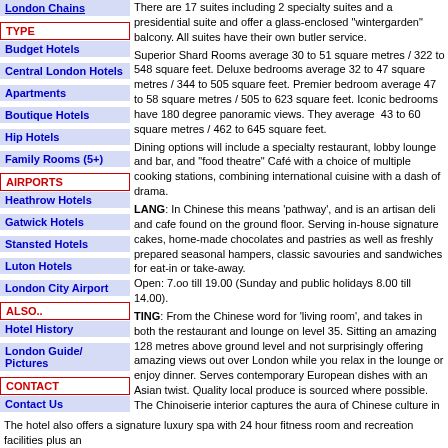London Chains
There are 17 suites including 2 specialty suites and a presidential suite and offer a glass-enclosed "wintergarden" balcony. All suites have their own butler service.
TYPE
Budget Hotels
Superior Shard Rooms average 30 to 51 square metres / 322 to 548 square feet. Deluxe bedrooms average 32 to 47 square metres / 344 to 505 square feet. Premier bedroom average 47 to 58 square metres / 505 to 623 square feet. Iconic bedrooms have 180 degree panoramic views. They average 43 to 60 square metres / 462 to 645 square feet.
Central London Hotels
Apartments
Boutique Hotels
Dining options will include a specialty restaurant, lobby lounge and bar, and "food theatre" Café with a choice of multiple cooking stations, combining international cuisine with a dash of drama.
Hip Hotels
Family Rooms (5+)
LANG: In Chinese this means 'pathway', and is an artisan deli and cafe found on the ground floor. Serving in-house signature cakes, home-made chocolates and pastries as well as freshly prepared seasonal hampers, classic savouries and sandwiches for eat-in or take-away. Open: 7.oo till 19.00 (Sunday and public holidays 8.00 till 14.00).
AIRPORTS
Heathrow Hotels
Gatwick Hotels
TING: From the Chinese word for 'living room', and takes in both the restaurant and lounge on level 35. Sitting an amazing 128 metres above ground level and not surprisingly offering amazing views out over London while you relax in the lounge or enjoy dinner. Serves contemporary European dishes with an Asian twist. Quality local produce is sourced where possible. The Chinoiserie interior captures the aura of Chinese culture in an elegant and modern interpretation featuring metal screens with oriental elements, modern classic furniture and lantern-inspired pendants.
Stansted Hotels
Luton Hotels
London City Airport
TING lounge: Serves an a la carte menu also with an Asian slant. This is also where afternoon tea is served. Guests can choose from two options, a classically English experience or an Asian inspired alternative, both complemented by an exclusive selection of over 30 teas. Restaurant and lounge open: 6.30 till 10.30, noon till 14.30, 18.00 till 23.00 Afternoon Tea 14.00 till 18.30 weekdays, from 11.30 weekends.
ALSO..
Hotel History
London Guide/ Pictures
GONG Bar: The bar is located on the 52nd floor of The Shard which makes it Londons highest bar. The Name Gong is the Chinese word for 'dougong', - a unique structural element of interlocking wooden brackets, used in traditional Chinese architecture and also featured in the bar. The look and decor is typical stylish Asian. Made up from separate intimate chambers (Cocktail Bar, Champagne Bar and the infinity Swimming Pool), the interior is also reminiscent of the traditional boudoirs of the West. The swimming pool (called the Skypool) is the highest pool in Western Europe. Open 17.00 till 02.00, Sunday till midnight.
CONTACT
Contact Us
The hotel also offers a signature luxury spa with 24 hour fitness room and recreation facilities plus an